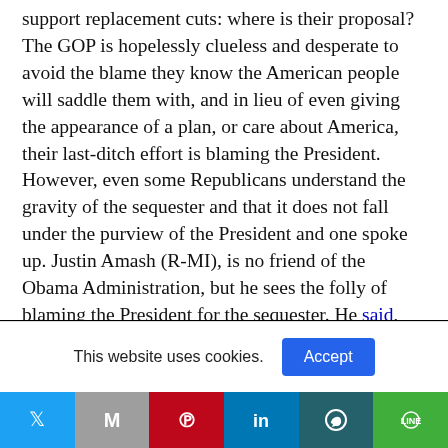support replacement cuts: where is their proposal? The GOP is hopelessly clueless and desperate to avoid the blame they know the American people will saddle them with, and in lieu of even giving the appearance of a plan, or care about America, their last-ditch effort is blaming the President. However, even some Republicans understand the gravity of the sequester and that it does not fall under the purview of the President and one spoke up. Justin Amash (R-MI), is no friend of the Obama Administration, but he sees the folly of blaming the President for the sequester. He said, “it’s a mistake
This website uses cookies.
[Figure (other): Cookie consent bar with Accept button and social media share bar (Twitter, Gmail/M, Pinterest, LinkedIn, WhatsApp, LINE)]